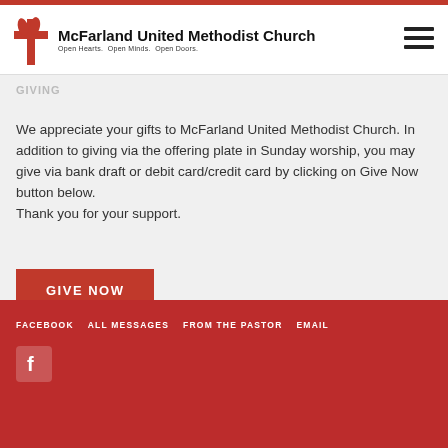McFarland United Methodist Church — Open Hearts. Open Minds. Open Doors.
Giving
We appreciate your gifts to McFarland United Methodist Church. In addition to giving via the offering plate in Sunday worship, you may give via bank draft or debit card/credit card by clicking on Give Now button below.
Thank you for your support.
[Figure (other): GIVE NOW button — red rectangle with white bold uppercase text]
FACEBOOK  ALL MESSAGES  FROM THE PASTOR  EMAIL
[Figure (logo): Facebook icon — white F on semi-transparent rounded square, dark red background]